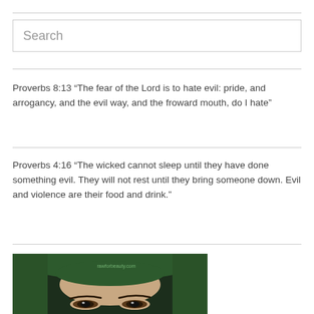Search
Proverbs 8:13 “The fear of the Lord is to hate evil: pride, and arrogancy, and the evil way, and the froward mouth, do I hate”
Proverbs 4:16 “The wicked cannot sleep until they have done something evil. They will not rest until they bring someone down. Evil and violence are their food and drink.”
[Figure (photo): Close-up photo of a person's eyes peeking out from under a green knitted hat/hood, with watermark text 'rawforbeauty.com']